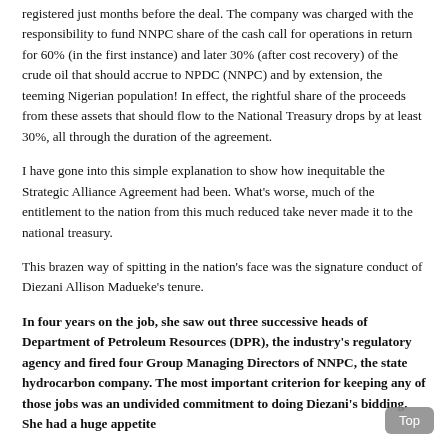registered just months before the deal. The company was charged with the responsibility to fund NNPC share of the cash call for operations in return for 60% (in the first instance) and later 30% (after cost recovery) of the crude oil that should accrue to NPDC (NNPC) and by extension, the teeming Nigerian population! In effect, the rightful share of the proceeds from these assets that should flow to the National Treasury drops by at least 30%, all through the duration of the agreement.
I have gone into this simple explanation to show how inequitable the Strategic Alliance Agreement had been. What's worse, much of the entitlement to the nation from this much reduced take never made it to the national treasury.
This brazen way of spitting in the nation's face was the signature conduct of Diezani Allison Madueke's tenure.
In four years on the job, she saw out three successive heads of Department of Petroleum Resources (DPR), the industry's regulatory agency and fired four Group Managing Directors of NNPC, the state hydrocarbon company. The most important criterion for keeping any of those jobs was an undivided commitment to doing Diezani's bidding. She had a huge appetite